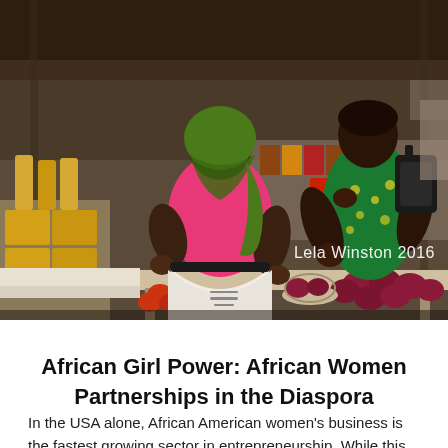[Figure (photo): Two African women at an outdoor market stall. One woman in a pink top and green headscarf faces away; another in a green floral dress with a black backpack faces her. Market stall has cooking oil, canned goods, onions, and other produce. Watermark reads 'Lela Winston 2016'.]
African Girl Power: African Women Partnerships in the Diaspora
In the USA alone, African American women's business is the fastest growing sector in entrepreneurship. While this